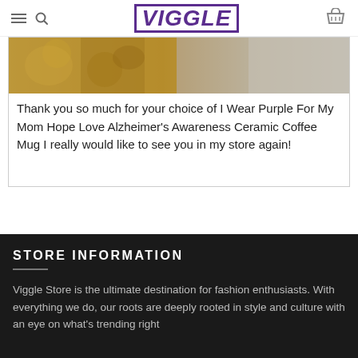VIGGLE
[Figure (photo): Close-up photo of a ceramic coffee mug with textured surface, partially visible, in golden-brown and grey tones]
Thank you so much for your choice of I Wear Purple For My Mom Hope Love Alzheimer's Awareness Ceramic Coffee Mug I really would like to see you in my store again!
STORE INFORMATION
Viggle Store is the ultimate destination for fashion enthusiasts. With everything we do, our roots are deeply rooted in style and culture with an eye on what's trending right